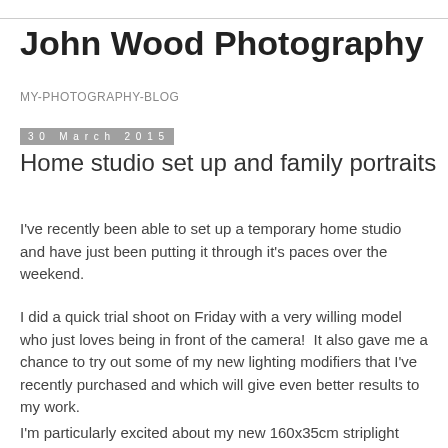John Wood Photography
MY-PHOTOGRAPHY-BLOG
30 March 2015
Home studio set up and family portraits
I've recently been able to set up a temporary home studio and have just been putting it through it's paces over the weekend.
I did a quick trial shoot on Friday with a very willing model who just loves being in front of the camera!  It also gave me a chance to try out some of my new lighting modifiers that I've recently purchased and which will give even better results to my work.
I'm particularly excited about my new 160x35cm striplight softbox which allows full length portraits to be nice and